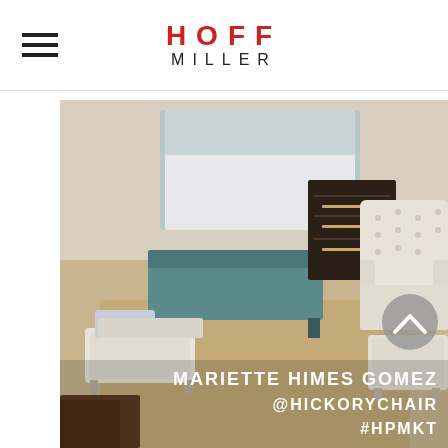HOFF MILLER
[Figure (photo): Furniture showroom display featuring a tufted white armchair with matching ottoman, a dark wood nightstand with chrome handles, a teal/blue upholstered bench at foot of bed, and two white upholstered ottomans on a natural fiber rug. Text overlay reads: MARIETTE HIMES GOMEZ @HICKORYCHAIR #HPMKT]